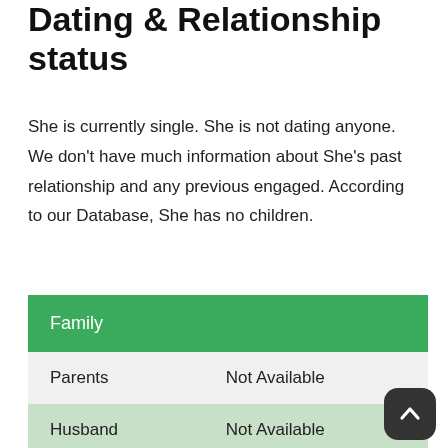Dating & Relationship status
She is currently single. She is not dating anyone. We don't have much information about She's past relationship and any previous engaged. According to our Database, She has no children.
| Family |  |
| --- | --- |
| Parents | Not Available |
| Husband | Not Available |
| Sibling | Not Available |
| Children | Not Available |